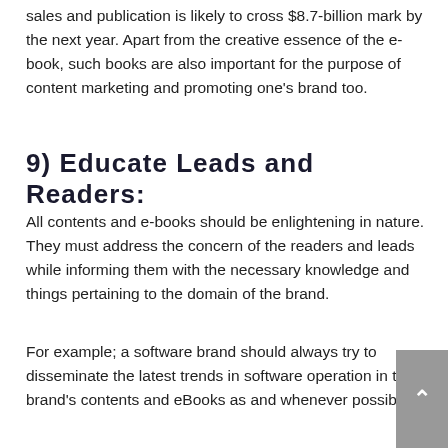sales and publication is likely to cross $8.7-billion mark by the next year. Apart from the creative essence of the e-book, such books are also important for the purpose of content marketing and promoting one’s brand too.
9) Educate Leads and Readers:
All contents and e-books should be enlightening in nature. They must address the concern of the readers and leads while informing them with the necessary knowledge and things pertaining to the domain of the brand.
For example; a software brand should always try to disseminate the latest trends in software operation in the brand’s contents and eBooks as and whenever possible.